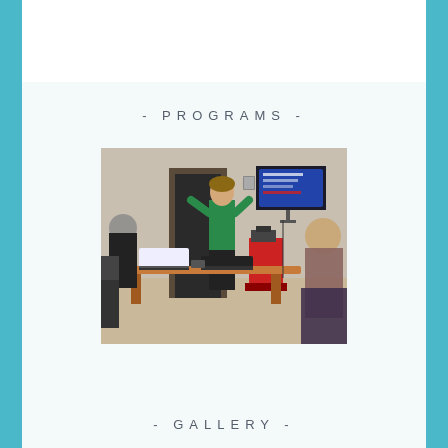- PROGRAMS -
[Figure (photo): A woman in a green top presenting at the front of a small classroom. Several women in hijabs are seated around a table with laptops. A TV screen displays a presentation. A red podium is visible in the background.]
- GALLERY -